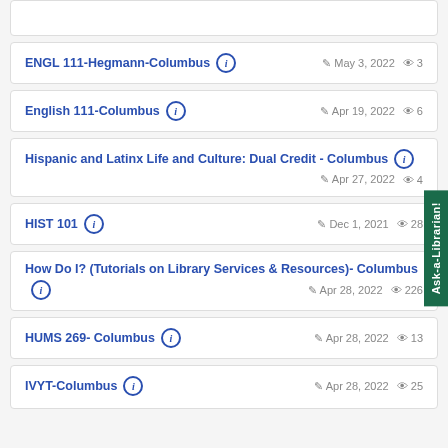ENGL 111-Hegmann-Columbus | May 3, 2022 | views: 3
English 111-Columbus | Apr 19, 2022 | views: 6
Hispanic and Latinx Life and Culture: Dual Credit - Columbus | Apr 27, 2022 | views: 4
HIST 101 | Dec 1, 2021 | views: 28
How Do I? (Tutorials on Library Services & Resources)- Columbus | Apr 28, 2022 | views: 226
HUMS 269- Columbus | Apr 28, 2022 | views: 13
IVYT-Columbus | Apr 28, 2022 | views: 25